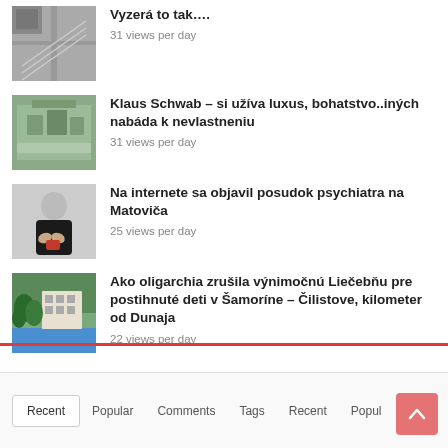Vyzerá to tak….
31 views per day
Klaus Schwab – si užíva luxus, bohatstvo..iných nabáda k nevlastneniu
31 views per day
Na internete sa objavil posudok psychiatra na Matoviča
25 views per day
Ako oligarchia zrušila výnimočnú Liečebňu pre postihnuté deti v Šamoríne – Čilistove, kilometer od Dunaja
22 views per day
Recent | Popular | Comments | Tags | Recent | Popular